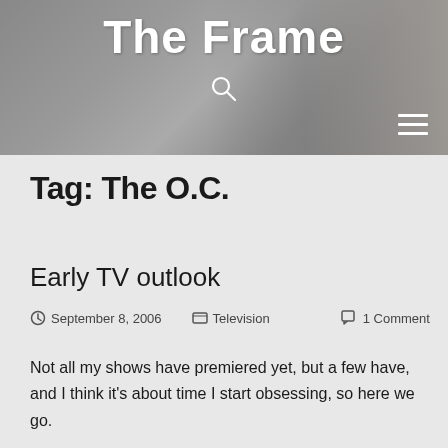The Frame
Tag: The O.C.
Early TV outlook
September 8, 2006   Television   1 Comment
Not all my shows have premiered yet, but a few have, and I think it's about time I start obsessing, so here we go.